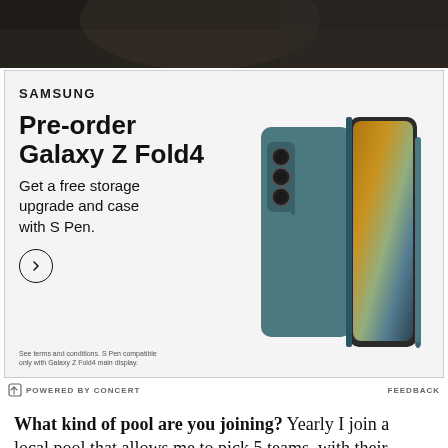[Figure (photo): Top portion of a photograph showing a person, cropped — only the upper background visible]
[Figure (infographic): Samsung advertisement for Galaxy Z Fold4 pre-order. Shows SAMSUNG logo, headline 'Pre-order Galaxy Z Fold4', subtext 'Get a free storage upgrade and case with S Pen.', a circle arrow button, fine print about terms, and a product photo of the Galaxy Z Fold4 in teal with S Pen.]
POWERED BY CONCERT
FEEDBACK
What kind of pool are you joining? Yearly I join a local pool that allows me to pick 5 teams, with their